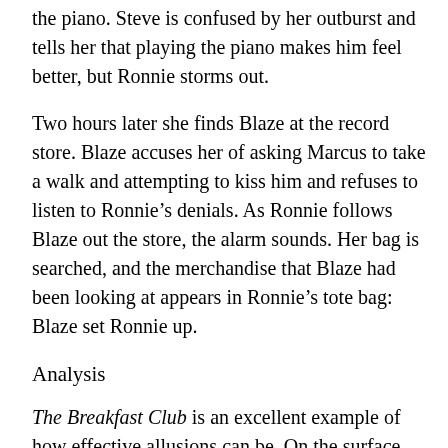the piano. Steve is confused by her outburst and tells her that playing the piano makes him feel better, but Ronnie storms out.
Two hours later she finds Blaze at the record store. Blaze accuses her of asking Marcus to take a walk and attempting to kiss him and refuses to listen to Ronnie's denials. As Ronnie follows Blaze out the store, the alarm sounds. Her bag is searched, and the merchandise that Blaze had been looking at appears in Ronnie's tote bag: Blaze set Ronnie up.
Analysis
The Breakfast Club is an excellent example of how effective allusions can be. On the surface, this detail of how Ronnie and Blaze spent their afternoon is unimportant. The plot of the film, however, foreshadows the development of Ronnie's relationship with Blaze and Ronnie's own growth throughout